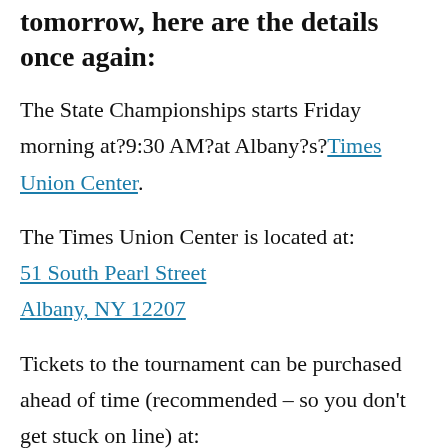tomorrow, here are the details once again:
The State Championships starts Friday morning at?9:30 AM?at Albany?s?Times Union Center.
The Times Union Center is located at:
51 South Pearl Street
Albany, NY 12207
Tickets to the tournament can be purchased ahead of time (recommended – so you don't get stuck on line) at: